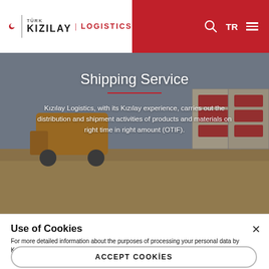[Figure (logo): Türk Kızılay Logistics logo with red crescent moon symbol on white background, and navigation icons (search, TR, hamburger menu) on red background]
[Figure (photo): Shipping/logistics scene with a forklift and stacked boxes/crates in an outdoor warehouse setting. Contains title 'Shipping Service' and descriptive text overlay.]
Shipping Service
Kızılay Logistics, with its Kızılay experience, carries out the distribution and shipment activities of products and materials on right time in right amount (OTIF).
Use of Cookies
For more detailed information about the purposes of processing your personal data by Kızılay Lojistik, we recommend you to read the Cookie Policy Clarification Text
ACCEPT COOKİES